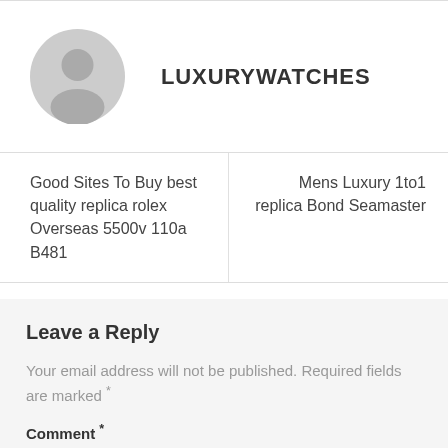[Figure (illustration): Gray placeholder avatar icon of a person silhouette]
LUXURYWATCHES
Good Sites To Buy best quality replica rolex Overseas 5500v 110a B481
Mens Luxury 1to1 replica Bond Seamaster
Leave a Reply
Your email address will not be published. Required fields are marked *
Comment *